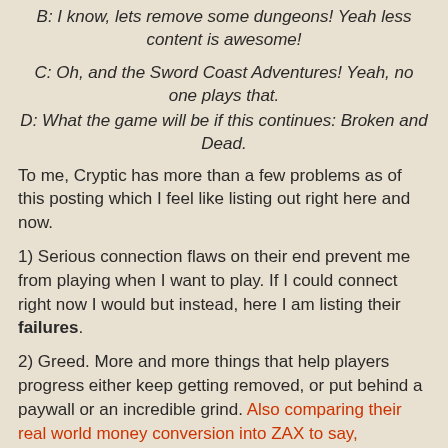B: I know, lets remove some dungeons! Yeah less content is awesome!
C: Oh, and the Sword Coast Adventures! Yeah, no one plays that.
D: What the game will be if this continues: Broken and Dead.
To me, Cryptic has more than a few problems as of this posting which I feel like listing out right here and now.
1) Serious connection flaws on their end prevent me from playing when I want to play. If I could connect right now I would but instead, here I am listing their failures.
2) Greed. More and more things that help players progress either keep getting removed, or put behind a paywall or an incredible grind. Also comparing their real world money conversion into ZAX to say, Mabinogi's Nexon cash is a real eye opener on how much of a premium they put on their pixels.
3) They like lying. Often blaming the slow abortion due to bots, or reclassification of bugs or whatever else. It would